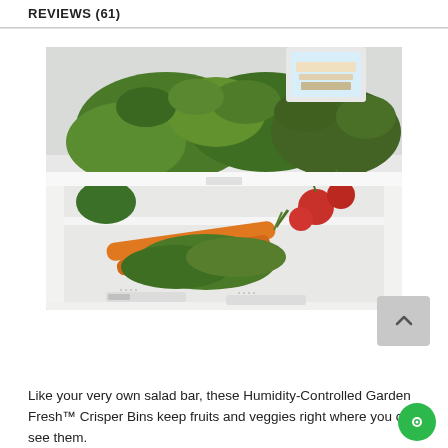REVIEWS (61)
[Figure (photo): A refrigerator crisper drawer open, filled with fresh vegetables including leafy greens, carrots, radishes, and a container visible at the top. The white plastic drawer frame and humidity control slider are visible.]
Like your very own salad bar, these Humidity-Controlled Garden Fresh™ Crisper Bins keep fruits and veggies right where you can see them.